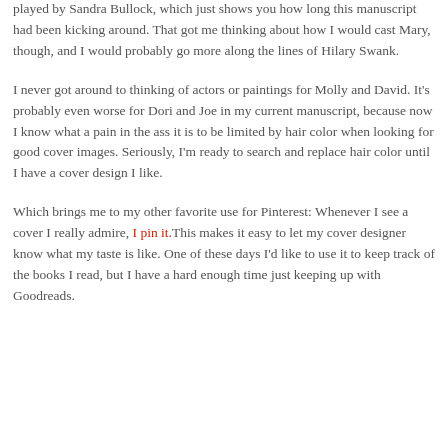describe her as horsy. My parents informed me that she should obviously be played by Sandra Bullock, which just shows you how long this manuscript had been kicking around. That got me thinking about how I would cast Mary, though, and I would probably go more along the lines of Hilary Swank.
I never got around to thinking of actors or paintings for Molly and David. It's probably even worse for Dori and Joe in my current manuscript, because now I know what a pain in the ass it is to be limited by hair color when looking for good cover images. Seriously, I'm ready to search and replace hair color until I have a cover design I like.
Which brings me to my other favorite use for Pinterest: Whenever I see a cover I really admire, I pin it. This makes it easy to let my cover designer know what my taste is like. One of these days I'd like to use it to keep track of the books I read, but I have a hard enough time just keeping up with Goodreads.